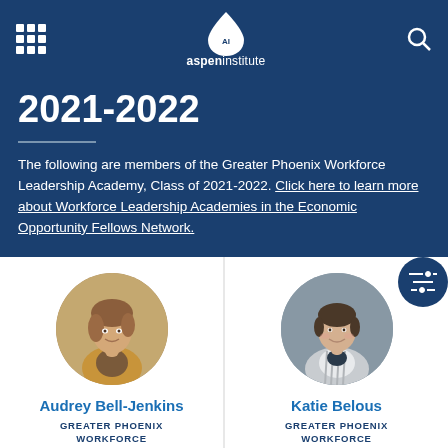Aspen Institute
2021-2022
The following are members of the Greater Phoenix Workforce Leadership Academy, Class of 2021-2022. Click here to learn more about Workforce Leadership Academies in the Economic Opportunity Fellows Network.
[Figure (photo): Circular portrait photo of Audrey Bell-Jenkins]
Audrey Bell-Jenkins
GREATER PHOENIX WORKFORCE
[Figure (photo): Circular portrait photo of Katie Belous]
Katie Belous
GREATER PHOENIX WORKFORCE